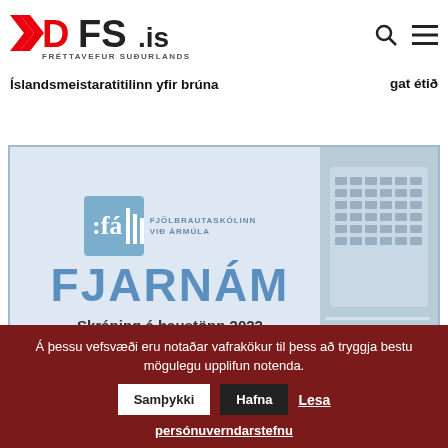DFS.is FRÉTTAVEFUR SUÐURLANDS
Íslandsmeistaratitilinn yfir brúna
gat étið
[Figure (illustration): Advertisement for Fjölbrautaskólinn við Ármúla showing FJARNÁM (distance learning) with logo and keyboard image. Text: Skráning á haustönn 2022 er hafin]
Á þessu vefsvæði eru notaðar vafrakökur til þess að tryggja bestu mögulegu upplifun notenda. Samþykki Hafna Lesa persónuverndarstefnu